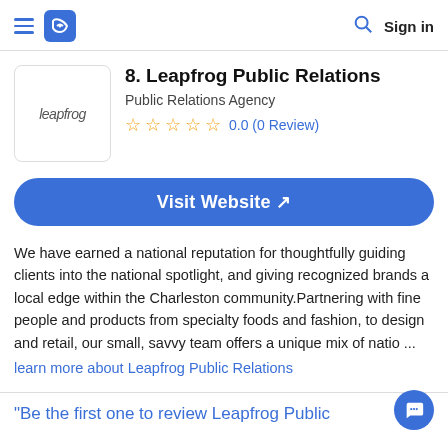Leapfrog PR listing page header with navigation
8. Leapfrog Public Relations
Public Relations Agency
0.0 (0 Review)
Visit Website ↗
We have earned a national reputation for thoughtfully guiding clients into the national spotlight, and giving recognized brands a local edge within the Charleston community.Partnering with fine people and products from specialty foods and fashion, to design and retail, our small, savvy team offers a unique mix of natio ...
learn more about Leapfrog Public Relations
"Be the first one to review Leapfrog Public